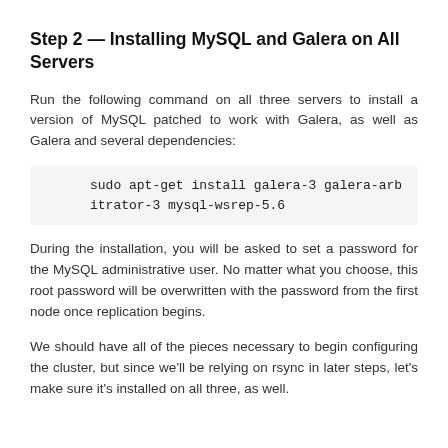Step 2 — Installing MySQL and Galera on All Servers
Run the following command on all three servers to install a version of MySQL patched to work with Galera, as well as Galera and several dependencies:
sudo apt-get install galera-3 galera-arbitrator-3 mysql-wsrep-5.6
During the installation, you will be asked to set a password for the MySQL administrative user. No matter what you choose, this root password will be overwritten with the password from the first node once replication begins.
We should have all of the pieces necessary to begin configuring the cluster, but since we'll be relying on rsync in later steps, let's make sure it's installed on all three, as well.